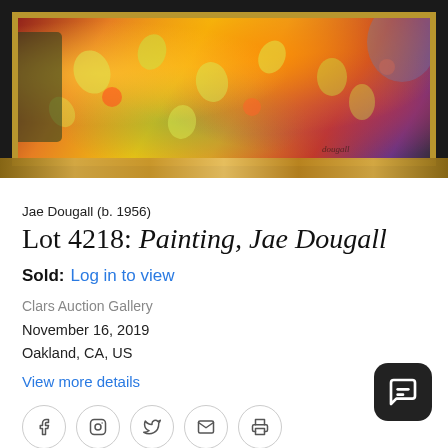[Figure (photo): Framed colorful expressionist painting with orange and yellow floral background, dark frame with gold inner border, attributed to Jae Dougall]
Jae Dougall (b. 1956)
Lot 4218: Painting, Jae Dougall
Sold: Log in to view
Clars Auction Gallery
November 16, 2019
Oakland, CA, US
View more details